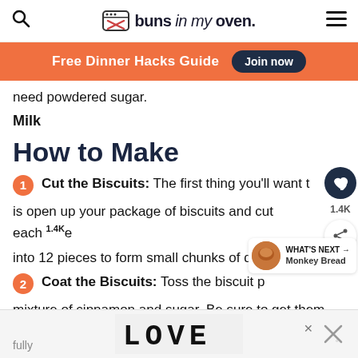buns in my oven.
Free Dinner Hacks Guide  Join now
need powdered sugar.
Milk
How to Make
1 Cut the Biscuits: The first thing you'll want to do is open up your package of biscuits and cut each one into 12 pieces to form small chunks of dough.
2 Coat the Biscuits: Toss the biscuit pieces in a mixture of cinnamon and sugar. Be sure to get them fully